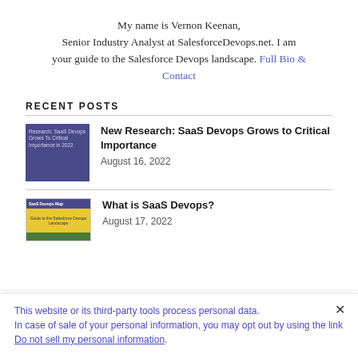My name is Vernon Keenan, Senior Industry Analyst at SalesforceDevops.net. I am your guide to the Salesforce Devops landscape. Full Bio & Contact
RECENT POSTS
New Research: SaaS Devops Grows to Critical Importance — August 16, 2022
What is SaaS Devops? — August 17, 2022
This website or its third-party tools process personal data. In case of sale of your personal information, you may opt out by using the link Do not sell my personal information.